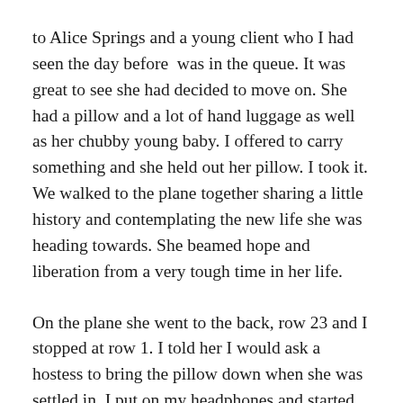to Alice Springs and a young client who I had seen the day before  was in the queue. It was great to see she had decided to move on. She had a pillow and a lot of hand luggage as well as her chubby young baby. I offered to carry something and she held out her pillow. I took it. We walked to the plane together sharing a little history and contemplating the new life she was heading towards. She beamed hope and liberation from a very tough time in her life.
On the plane she went to the back, row 23 and I stopped at row 1. I told her I would ask a hostess to bring the pillow down when she was settled in. I put on my headphones and started to listen to John Mayer. Once the door was shut, I asked a lively young, very blonde and Aussie hostess who came from the back of the plane if she could give the pillow to the tall young